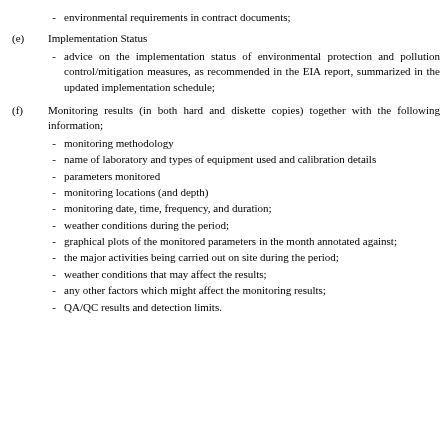environmental requirements in contract documents;
(e) Implementation Status
advice on the implementation status of environmental protection and pollution control/mitigation measures, as recommended in the EIA report, summarized in the updated implementation schedule;
(f) Monitoring results (in both hard and diskette copies) together with the following information;
monitoring methodology
name of laboratory and types of equipment used and calibration details
parameters monitored
monitoring locations (and depth)
monitoring date, time, frequency, and duration;
weather conditions during the period;
graphical plots of the monitored parameters in the month annotated against;
the major activities being carried out on site during the period;
weather conditions that may affect the results;
any other factors which might affect the monitoring results;
QA/QC results and detection limits.